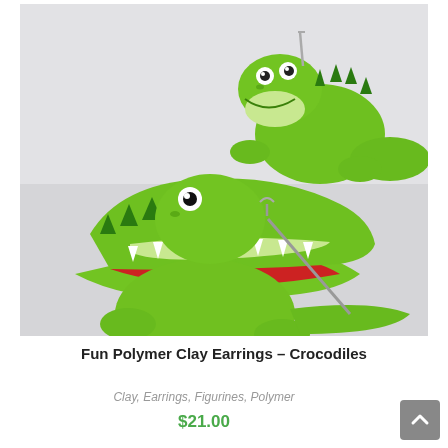[Figure (photo): Two handmade polymer clay crocodile earrings with bright green color, white teeth, red mouths, and dark green spiky backs, shown on a white background. One earring has its mouth wide open showing the earring post inside, the other is viewed from the side.]
Fun Polymer Clay Earrings – Crocodiles
Clay, Earrings, Figurines, Polymer
$21.00